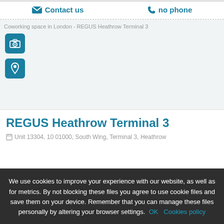Contact us  no phone
[Figure (screenshot): Broken image placeholder for Coworking space in London - REGUS Heathrow Terminal 3, with camera and pin icon buttons]
REGUS Heathrow Terminal 3
Unit 13304, 10 01000, South Wing, Terminal 3, Heathrow
We use cookies to improve your experience with our website, as well as for metrics. By not blocking these files you agree to use cookie files and save them on your device. Remember that you can manage these files personally by altering your browser settings. OK  Cookies policy